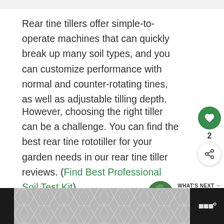Rear tine tillers offer simple-to-operate machines that can quickly break up many soil types, and you can customize performance with normal and counter-rotating tines, as well as adjustable tilling depth.
However, choosing the right tiller can be a challenge. You can find the best rear tine rototiller for your garden needs in our rear tine tiller reviews. (Find Best Professional Soil Test Kit)
[Figure (infographic): What's Next widget showing Best Garden Shovel with circular thumbnail image of garden shovel]
[Figure (infographic): Bottom advertisement banner with geometric hexagon/chevron grey pattern and weather widget icon]